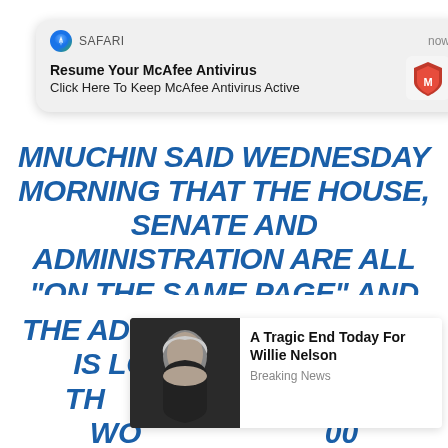[Figure (screenshot): Safari browser push notification for McAfee Antivirus saying 'Resume Your McAfee Antivirus' and 'Click Here To Keep McAfee Antivirus Active' with McAfee logo]
MNUCHIN SAID WEDNESDAY MORNING THAT THE HOUSE, SENATE AND ADMINISTRATION ARE ALL “ON THE SAME PAGE” AND CALLED TAX REFORM A “MAJOR PRIORITY.”
THE ADMINISTRATION ALSO IS LOOKING AT A BIG INCREASE IN THE
[Figure (screenshot): Ad card showing a photo of Willie Nelson with the headline 'A Tragic End Today For Willie Nelson' and subheading 'Breaking News']
TH... ON WO... 00